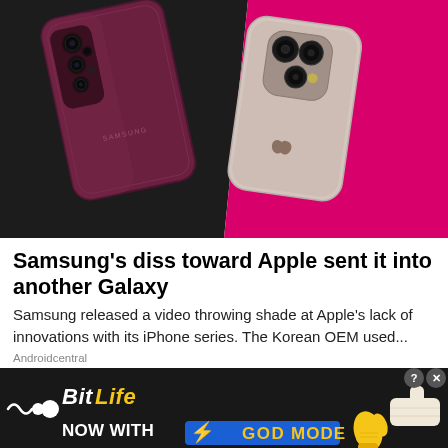[Figure (photo): Photo of a Samsung Galaxy S22 Ultra (burgundy/maroon) and an iPhone 14 Pro (silver/pink) side by side, on a split black and hot-pink background, shot from above.]
Samsung's diss toward Apple sent it into another Galaxy
Samsung released a video throwing shade at Apple's lack of innovations with its iPhone series. The Korean OEM used...
Androidcentral
[Figure (infographic): BitLife advertisement banner with dark background. Shows BitLife logo with icon, text 'NOW WITH GOD MODE' in blue badge with yellow lightning bolt. Yellow thumbs-up hand graphic on right, and pointing hand graphic on far right. Question mark and X close buttons in top right corner.]